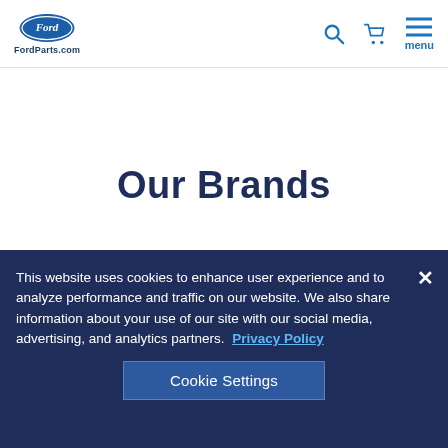FordParts.com — navigation header with Ford logo, search icon, cart icon, and menu
Our Brands
[Figure (logo): Dark navy blue brand logo image (broken/loading) — square dark background with broken image icon]
This website uses cookies to enhance user experience and to analyze performance and traffic on our website. We also share information about your use of our site with our social media, advertising, and analytics partners. Privacy Policy
Cookie Settings